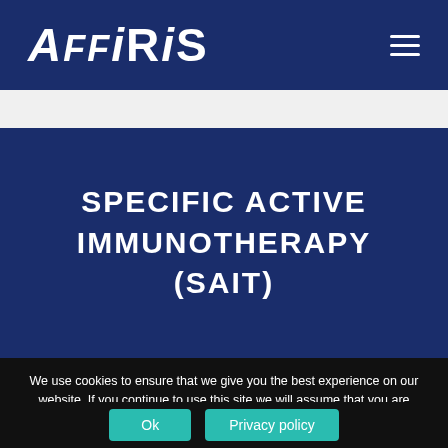[Figure (logo): AFfiRiS company logo in white italic text on dark navy blue background header bar]
SPECIFIC ACTIVE IMMUNOTHERAPY (SAIT)
We use cookies to ensure that we give you the best experience on our website. If you continue to use this site we will assume that you are happy with it.
Ok
Privacy policy